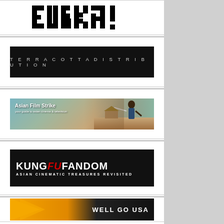[Figure (logo): EUREKA! logo in bold black stylized font on white background]
[Figure (logo): TERRACOTTADISTRIBUTION text in spaced uppercase white letters on black banner]
[Figure (illustration): Asian Film Strike banner with a person holding a weapon, outdoor scene background]
[Figure (logo): KUNG FU FANDOM banner: white and red bold text on black, subtitle: ASIAN CINEMATIC TREASURES REVISITED]
[Figure (logo): Well Go USA partial banner with orange and dark background, partially cut off at bottom]